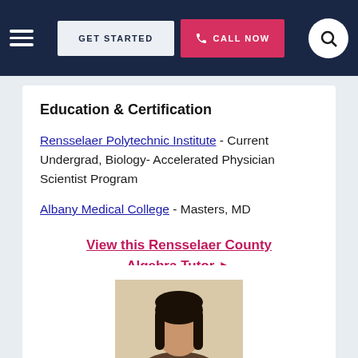GET STARTED | CALL NOW
Education & Certification
Rensselaer Polytechnic Institute - Current Undergrad, Biology- Accelerated Physician Scientist Program
Albany Medical College - Masters, MD
View this Rensselaer County Algebra Tutor ▶
[Figure (photo): Partial photo of a tutor with dark hair against a light beige background]